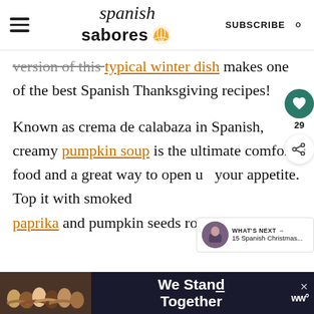Spanish Sabores — SUBSCRIBE
version of this typical winter dish makes one of the best Spanish Thanksgiving recipes!
Known as crema de calabaza in Spanish, creamy pumpkin soup is the ultimate comfort food and a great way to open up your appetite. Top it with smoked paprika and pumpkin seeds roasted with se...
[Figure (infographic): We Stand Together ad banner at bottom of page with group photo]
[Figure (infographic): What's Next widget: 15 Spanish Christmas...]